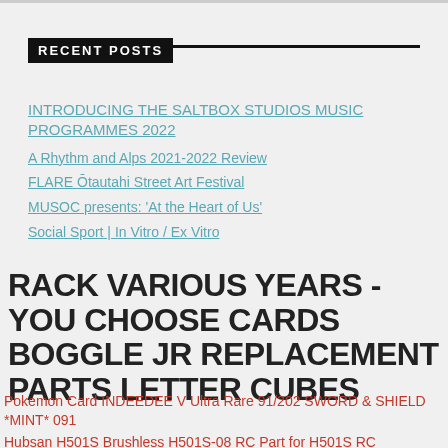RECENT POSTS
INTRODUCING THE SALTBOX STUDIOS MUSIC PROGRAMMES 2022
A Rhythm and Alps 2021-2022 Review
FLARE Ōtautahi Street Art Festival
MUSOC presents: 'At the Heart of Us'
Social Sport | In Vitro / Ex Vitro
RACK VARIOUS YEARS -YOU CHOOSE CARDS BOGGLE JR REPLACEMENT PARTS LETTER CUBES
Pokemon Card INDEEDEE V Ultra Rare 91/202 SWORD & SHIELD *MINT* 091
Hubsan H501S Brushless H501S-08 RC Part for H501S RC